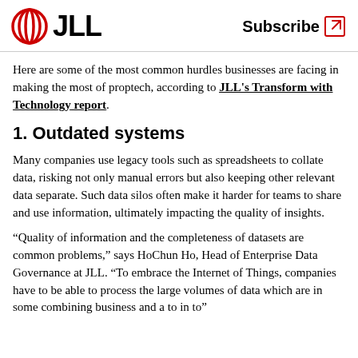JLL | Subscribe
Here are some of the most common hurdles businesses are facing in making the most of proptech, according to JLL's Transform with Technology report.
1. Outdated systems
Many companies use legacy tools such as spreadsheets to collate data, risking not only manual errors but also keeping other relevant data separate. Such data silos often make it harder for teams to share and use information, ultimately impacting the quality of insights.
“Quality of information and the completeness of datasets are common problems,” says HoChun Ho, Head of Enterprise Data Governance at JLL. “To embrace the Internet of Things, companies have to be able to process the large volumes of data which are in some combining business and automation to…”